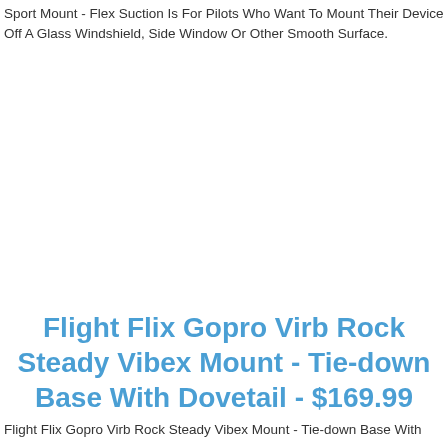Sport Mount - Flex Suction Is For Pilots Who Want To Mount Their Device Off A Glass Windshield, Side Window Or Other Smooth Surface.
Flight Flix Gopro Virb Rock Steady Vibex Mount - Tie-down Base With Dovetail - $169.99
Flight Flix Gopro Virb Rock Steady Vibex Mount - Tie-down Base With